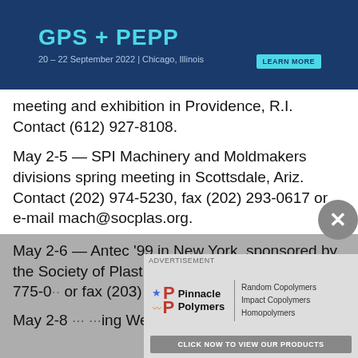[Figure (other): GPS + PEPP banner advertisement. Text: 'GPS + PEPP', '20 – 22 September 2022 | Chicago, Illinois', 'LEARN MORE' button.]
meeting and exhibition in Providence, R.I. Contact (612) 927-8108.
May 2-5 — SPI Machinery and Moldmakers divisions spring meeting in Scottsdale, Ariz. Contact (202) 974-5230, fax (202) 293-0617 or e-mail mach@socplas.org.
May 2-6 — Antec '99 in New York, sponsored by the Society of Plastics Engineers. Contact (203) 775-0... or fax (203) 775-8490.
May 2-8 — ...ing Week in ... Internat... (3) 453-
[Figure (other): Pinnacle Polymers advertisement. Logo with star and PP letters. Products listed: Random Copolymers, Impact Copolymers, Homopolymers. Button: 'CLICK NOW TO VIEW OUR PRODUCTS'.]